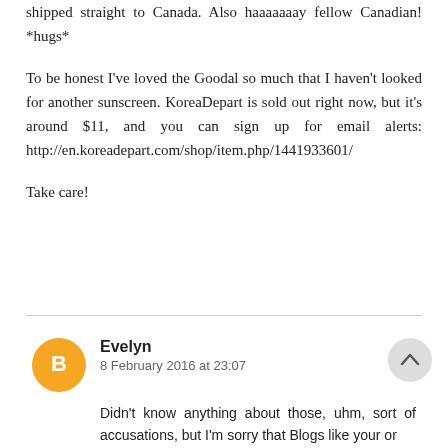shipped straight to Canada. Also haaaaaaay fellow Canadian! *hugs*

To be honest I've loved the Goodal so much that I haven't looked for another sunscreen. KoreaDepart is sold out right now, but it's around $11, and you can sign up for email alerts: http://en.koreadepart.com/shop/item.php/144193 3601/

Take care!
Evelyn
8 February 2016 at 23:07

Didn't know anything about those, uhm, sort of accusations, but I'm sorry that Blogs like your or